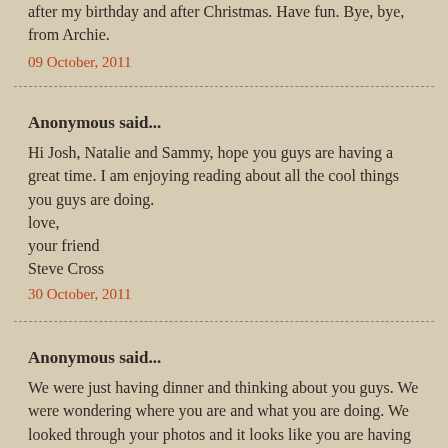after my birthday and after Christmas. Have fun. Bye, bye, from Archie.
09 October, 2011
Anonymous said...
Hi Josh, Natalie and Sammy, hope you guys are having a great time. I am enjoying reading about all the cool things you guys are doing.
love,
your friend
Steve Cross
30 October, 2011
Anonymous said...
We were just having dinner and thinking about you guys. We were wondering where you are and what you are doing. We looked through your photos and it looks like you are having a great time. At preschool we were all talking about your swim in the river and the big boat